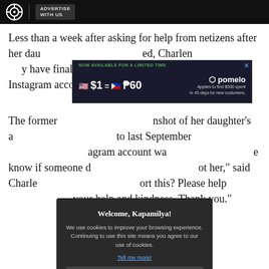ABS-CBN | ADVERTISE WITH US
Less than a week after asking for help from netizens after her daughter's account was hacked, Charlene may have finally retrieved the account, as posted on her Instagram account last October 3.
[Figure (screenshot): Advertisement banner: NOW AVAILABLE FOR A LIMITED TIME | $1 = P60 | pomelo | Applies to first $500 spent in 45 days for new customers.]
The former actress shared a screenshot of her daughter's account that was hacked to last September, asking netizens if the Instagram account was still active and to let her know if someone did something. "Did she not her," said Charlene. "Can you please report this? Please help us. Thank you so much for your help and kindness. Thank you."
[Figure (screenshot): Cookie consent modal. Title: Welcome, Kapamilya! Body: We use cookies to improve your browsing experience. Continuing to use this site means you agree to our use of cookies. Link: Tell me more! Button: I AGREE!]